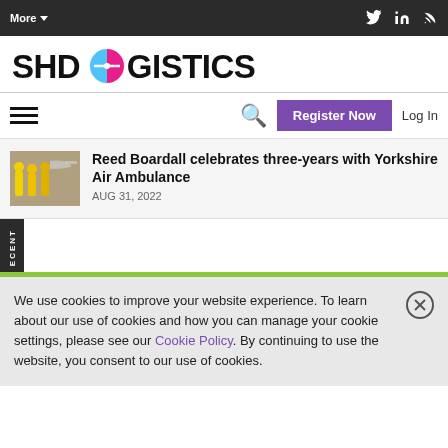More▾ | SHD Logistics website header navigation
[Figure (logo): SHD Logistics logo with circular icon]
Reed Boardall celebrates three-years with Yorkshire Air Ambulance — AUG 31, 2022
RECENT
We use cookies to improve your website experience. To learn about our use of cookies and how you can manage your cookie settings, please see our Cookie Policy. By continuing to use the website, you consent to our use of cookies.